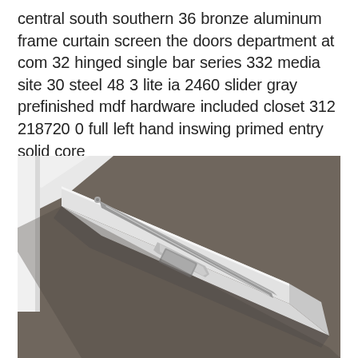central south southern 36 bronze aluminum frame curtain screen the doors department at com 32 hinged single bar series 332 media site 30 steel 48 3 lite ia 2460 slider gray prefinished mdf hardware included closet 312 218720 0 full left hand inswing primed entry solid core
[Figure (photo): A close-up photo of a white aluminum sliding door track/frame component lying diagonally on a gray/brown carpet. The track shows a rectangular rail profile with a recessed handle slot visible.]